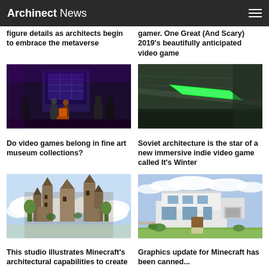Archinect News
figure details as architects begin to embrace the metaverse
gamer. One Great (And Scary) 2019's beautifully anticipated video game
[Figure (photo): People in a dark room looking at an illuminated interactive display with pixel art graphics]
[Figure (photo): A dark architectural interior with a glowing neon green angled surface or sign]
Do video games belong in fine art museum collections?
Soviet architecture is the star of a new immersive indie video game called It's Winter
[Figure (photo): An elaborate fantasy Minecraft castle build floating among clouds with detailed architecture]
[Figure (photo): A white modernist house rendered in Minecraft style with greenery]
This studio illustrates Minecraft's architectural capabilities to create
Graphics update for Minecraft has been canned...